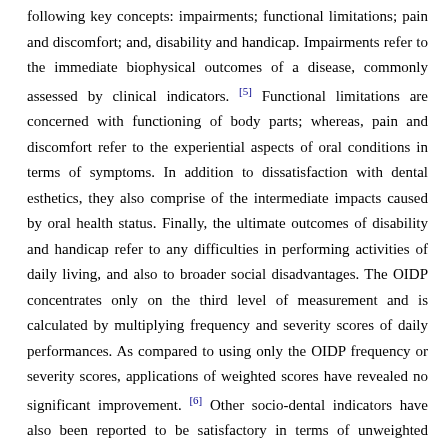following key concepts: impairments; functional limitations; pain and discomfort; and, disability and handicap. Impairments refer to the immediate biophysical outcomes of a disease, commonly assessed by clinical indicators. [5] Functional limitations are concerned with functioning of body parts; whereas, pain and discomfort refer to the experiential aspects of oral conditions in terms of symptoms. In addition to dissatisfaction with dental esthetics, they also comprise of the intermediate impacts caused by oral health status. Finally, the ultimate outcomes of disability and handicap refer to any difficulties in performing activities of daily living, and also to broader social disadvantages. The OIDP concentrates only on the third level of measurement and is calculated by multiplying frequency and severity scores of daily performances. As compared to using only the OIDP frequency or severity scores, applications of weighted scores have revealed no significant improvement. [6] Other socio-dental indicators have also been reported to be satisfactory in terms of unweighted instead of weighted scores. [7] For those reasons, the un-weighted or abbreviated version of the OIDP frequency scale was applied in our study.
The practice of dentistry has been widely acknowledged as being associated with high levels of stress. Stressors associated with dentistry include time and